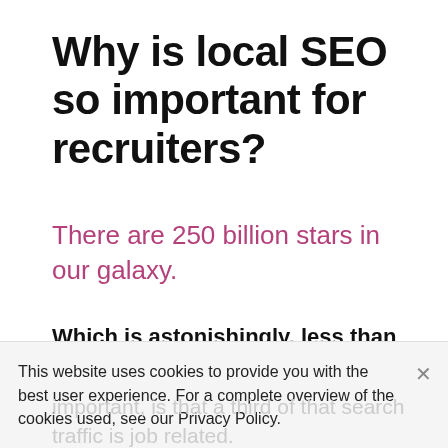Why is local SEO so important for recruiters?
There are 250 billion stars in our galaxy.
Which is astonishingly, less than the amount of Google searches made in 2018.
This website uses cookies to provide you with the best user experience. For a complete overview of the cookies used, see our Privacy Policy.
important, is that a third of that search traffic is job related.